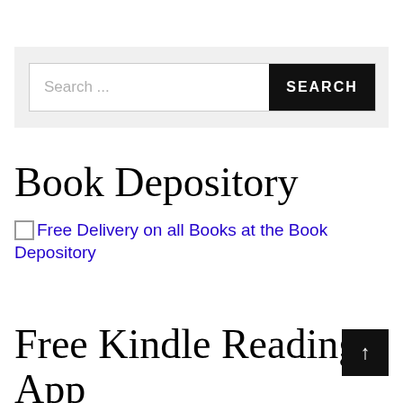[Figure (screenshot): Search bar with text input field showing placeholder 'Search ...' and a black SEARCH button on the right, inside a light gray container]
Book Depository
Free Delivery on all Books at the Book Depository
Free Kindle Reading App